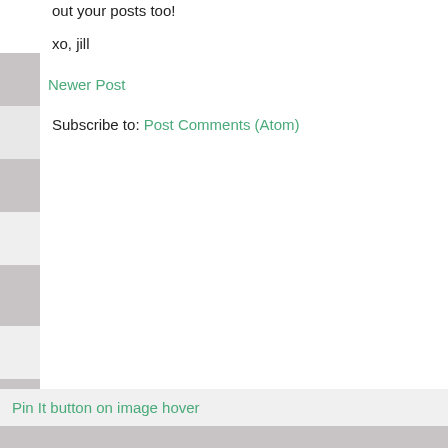out your posts too!
xo, jill
Newer Post
Subscribe to: Post Comments (Atom)
Pin It button on image hover